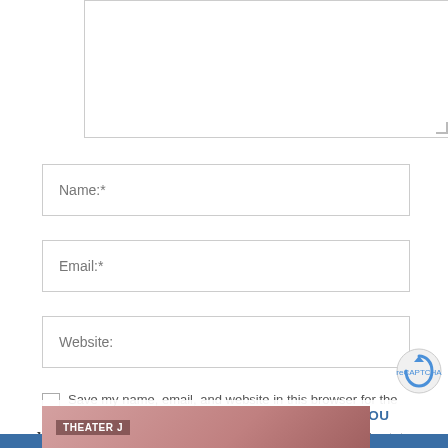[Figure (screenshot): Comment form textarea (empty, resizable)]
Name:*
Email:*
Website:
Save my name, email, and website in this browser for the next time
WASHINGTON JEWISH WEEK IS HERE FOR YOU
Your voluntary contribution supports our efforts to deliver content that engages and helps strengthen the Jewish community in the DMV.
POST COMMENT
CONTRIBUTE
[Figure (screenshot): Theater J promotional image strip at the bottom with label THEATER J]
[Figure (logo): Google reCAPTCHA icon in bottom right corner]